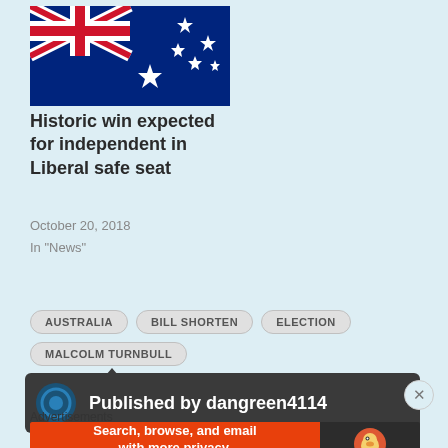[Figure (illustration): Australian flag image]
Historic win expected for independent in Liberal safe seat
October 20, 2018
In "News"
AUSTRALIA
BILL SHORTEN
ELECTION
MALCOLM TURNBULL
Published by dangreen4114
Advertisements
[Figure (screenshot): DuckDuckGo advertisement banner: Search, browse, and email with more privacy. All in One Free App]